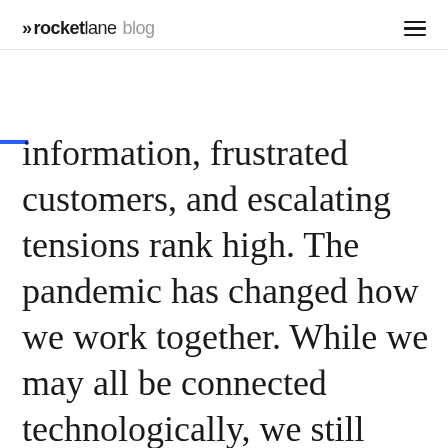»rocketlane blog
information, frustrated customers, and escalating tensions rank high. The pandemic has changed how we work together. While we may all be connected technologically, we still find ourselves dispersed and in